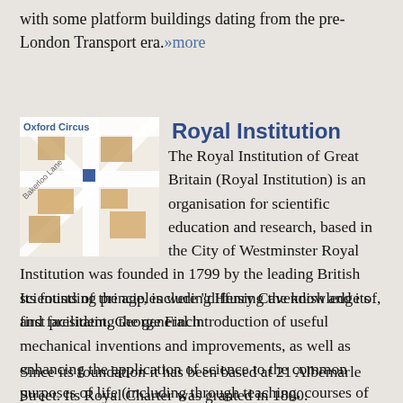with some platform buildings dating from the pre-London Transport era. »more
[Figure (map): Street map showing Oxford Circus area with label 'Oxford Circus']
Royal Institution
The Royal Institution of Great Britain (Royal Institution) is an organisation for scientific education and research, based in the City of Westminster Royal Institution was founded in 1799 by the leading British scientists of the age, including Henry Cavendish and its first president, George Finch.
Its founding principles were "diffusing the knowledge of, and facilitating the general introduction of useful mechanical inventions and improvements, as well as enhancing the application of science to the common purposes of life (including through teaching, courses of philosophical lectures, and experiments)"
Since its foundation it has been based at 21 Albemarle Street. Its Royal Charter was granted in 1800.